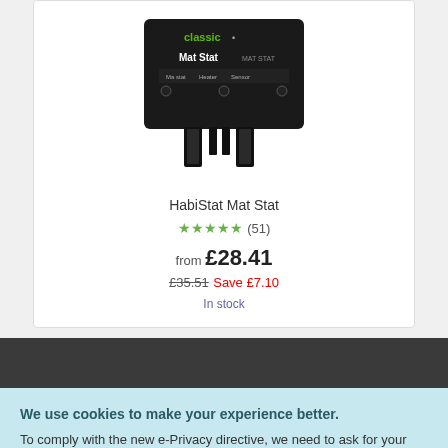[Figure (photo): HabiStat Mat Stat product image — black electronic thermostat device with green 'classic' label and plug connectors]
HabiStat Mat Stat
★★★★★ (51)
from £28.41
£35.51 Save £7.10
In stock
We use cookies to make your experience better.
To comply with the new e-Privacy directive, we need to ask for your consent to set the cookies. Learn more.
Allow Cookies